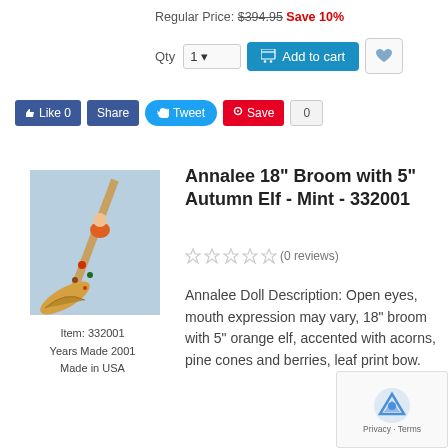Regular Price: $394.95 Save 10%
[Figure (screenshot): Add to cart UI with quantity selector, Add to cart button, and wishlist heart button]
[Figure (screenshot): Social sharing buttons: Like 0, Share, Tweet, Save 0]
[Figure (photo): Photo of Annalee 18 inch broom with 5 inch autumn elf ornament on blue background]
Item: 332001
Years Made 2001
Made in USA
Annalee 18" Broom with 5" Autumn Elf - Mint - 332001
(0 reviews)
Annalee Doll Description: Open eyes, mouth expression may vary, 18" broom with 5" orange elf, accented with acorns, pine cones and berries, leaf print bow.